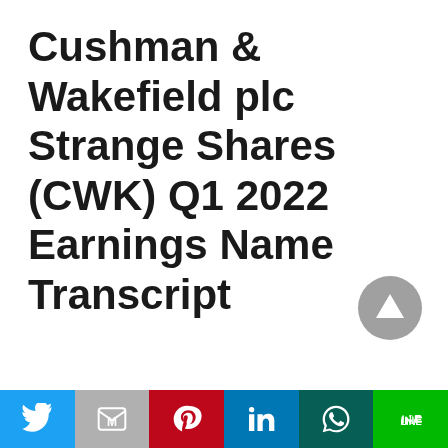Cushman & Wakefield plc Strange Shares (CWK) Q1 2022 Earnings Name Transcript
[Figure (other): Gray circular scroll-to-top button with upward triangle arrow]
[Figure (infographic): Social sharing bar with six buttons: Twitter (blue), Gmail (gray), Pinterest (red), LinkedIn (blue), WhatsApp (dark green), LINE (green)]